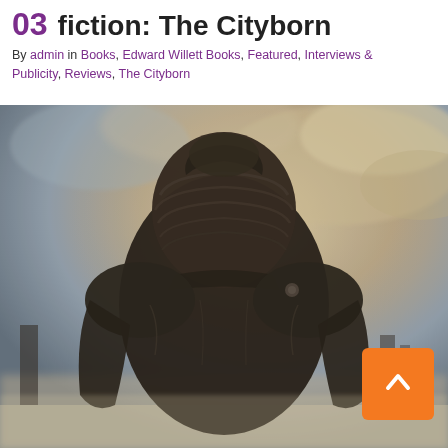03  fiction: The Cityborn
By admin in Books, Edward Willett Books, Featured, Interviews & Publicity, Reviews, The Cityborn
[Figure (illustration): Dark atmospheric sci-fi/fantasy book cover art showing a large armored or rocky humanoid figure from behind, silhouetted against a dramatic cloudy sky with warm golden and grey tones. The figure appears massive and imposing, set in a dystopian or post-apocalyptic environment.]